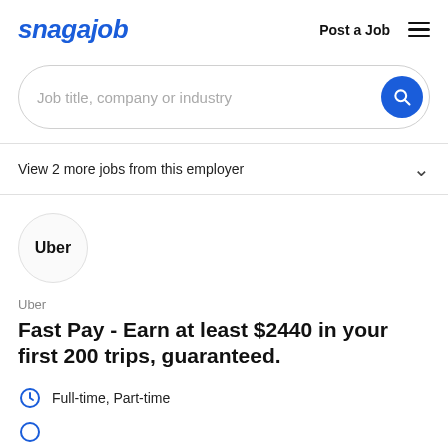snagajob   Post a Job
[Figure (screenshot): Search bar with placeholder text 'Job title, company or industry' and a blue circular search button]
View 2 more jobs from this employer
[Figure (logo): Uber company logo in a circular border]
Uber
Fast Pay - Earn at least $2440 in your first 200 trips, guaranteed.
Full-time, Part-time